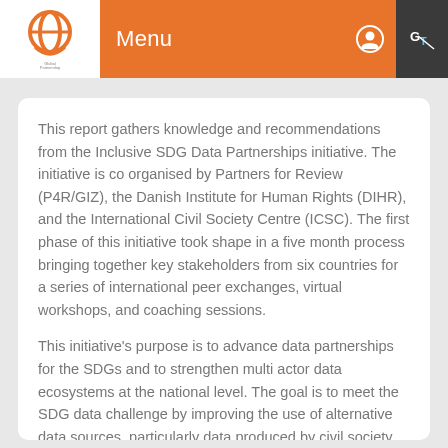Menu
This report gathers knowledge and recommendations from the Inclusive SDG Data Partnerships initiative. The initiative is co organised by Partners for Review (P4R/GIZ), the Danish Institute for Human Rights (DIHR), and the International Civil Society Centre (ICSC). The first phase of this initiative took shape in a five month process bringing together key stakeholders from six countries for a series of international peer exchanges, virtual workshops, and coaching sessions.
This initiative's purpose is to advance data partnerships for the SDGs and to strengthen multi actor data ecosystems at the national level. The goal is to meet the SDG data challenge by improving the use of alternative data sources, particularly data produced by civil society and human rights